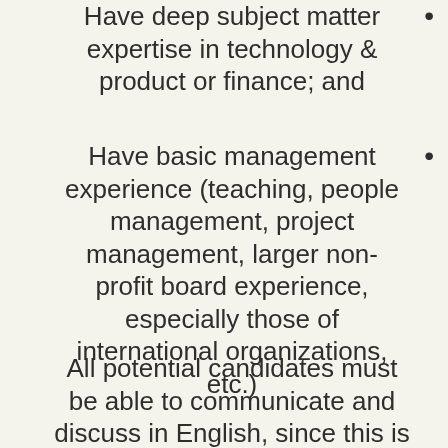Have deep subject matter expertise in technology & product or finance; and
Have basic management experience (teaching, people management, project management, larger non-profit board experience, especially those of international organizations, etc.)
All potential candidates must be able to communicate and discuss in English, since this is the language we use in all our